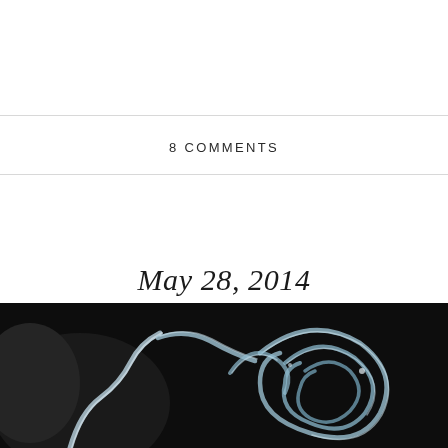8 COMMENTS
May 28, 2014
[Figure (photo): Close-up photograph of a glass or metallic wire whisk on a dark background, showing the looping curved wires in detail with light reflections]